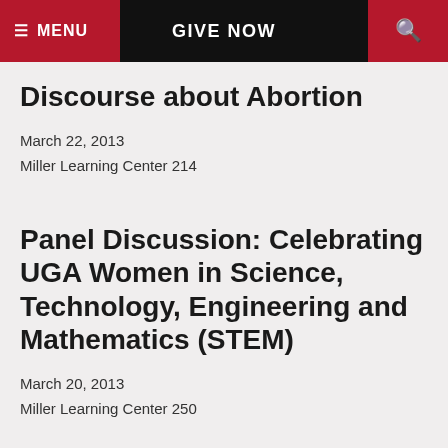≡ MENU   GIVE NOW   🔍
Discourse about Abortion
March 22, 2013
Miller Learning Center 214
Panel Discussion: Celebrating UGA Women in Science, Technology, Engineering and Mathematics (STEM)
March 20, 2013
Miller Learning Center 250